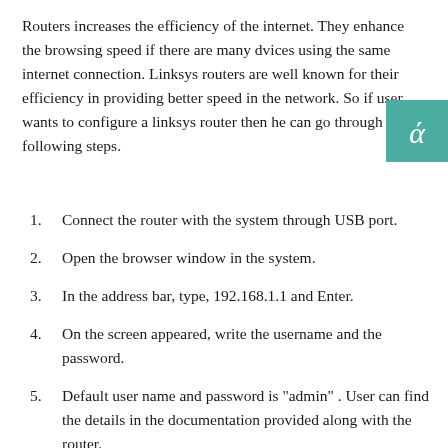Routers increases the efficiency of the internet. They enhance the browsing speed if there are many dvices using the same internet connection. Linksys routers are well known for their efficiency in providing better speed in the network. So if user wants to configure a linksys router then he can go through following steps.
1. Connect the router with the system through USB port.
2. Open the browser window in the system.
3. In the address bar, type, 192.168.1.1 and Enter.
4. On the screen appeared, write the username and the password.
5. Default user name and password is "admin" . User can find the details in the documentation provided along with the router.